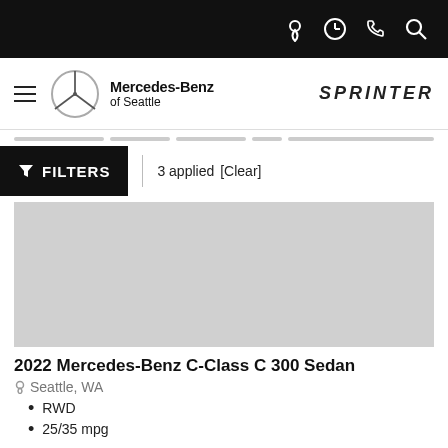Mercedes-Benz of Seattle | SPRINTER
FILTERS  3 applied  [Clear]
[Figure (photo): Placeholder image area for car listing photo (light gray rectangle)]
2022 Mercedes-Benz C-Class C 300 Sedan
Seattle, WA
RWD
25/35 mpg
Moonroof, Heated Seats, WHEELS: 18 5-SPOKE, Aluminum Wheels, Turbo Charged Engine. C 300 trim. FUEL EFFICIENT 35 MPG Hwy/25